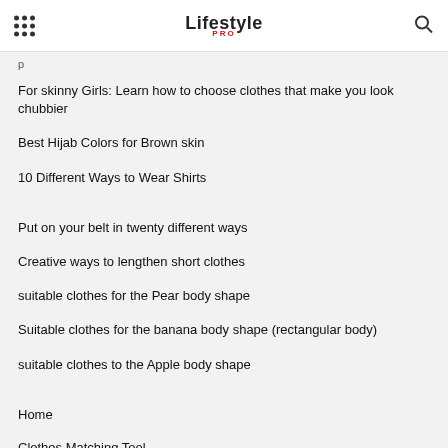Lifestyle PRO
For skinny Girls: Learn how to choose clothes that make you look chubbier
Best Hijab Colors for Brown skin
10 Different Ways to Wear Shirts
Put on your belt in twenty different ways
Creative ways to lengthen short clothes
suitable clothes for the Pear body shape
Suitable clothes for the banana body shape (rectangular body)
suitable clothes to the Apple body shape
Home
Clothes Matching Tool